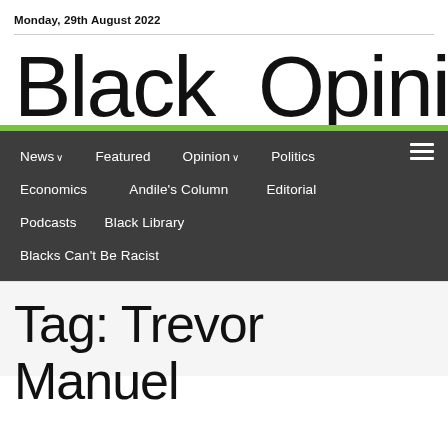Monday, 29th August 2022
Black Opini
News Featured Opinion Politics Economics Andile's Column Editorial Podcasts Black Library Blacks Can't Be Racist
Tag: Trevor Manuel